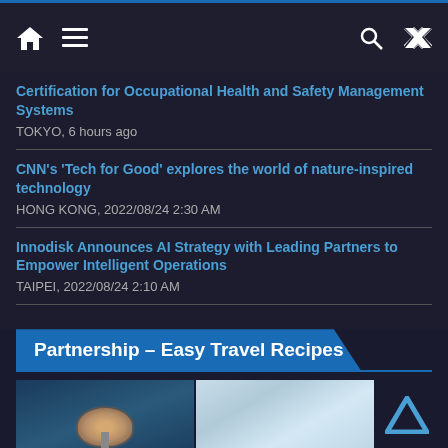Navigation bar with home, menu, search, and shuffle icons
Certification for Occupational Health and Safety Management Systems
TOKYO, 6 hours ago
CNN's 'Tech for Good' explores the world of nature-inspired technology
HONG KONG, 2022/08/24 2:30 AM
Innodisk Announces AI Strategy with Leading Partners to Empower Intelligent Operations
TAIPEI, 2022/08/24 2:10 AM
Partnership – Easy Travel Recipes
[Figure (photo): Two food/travel photos side by side: a bowl of soup/food on the left, a light blue/white travel image on the right]